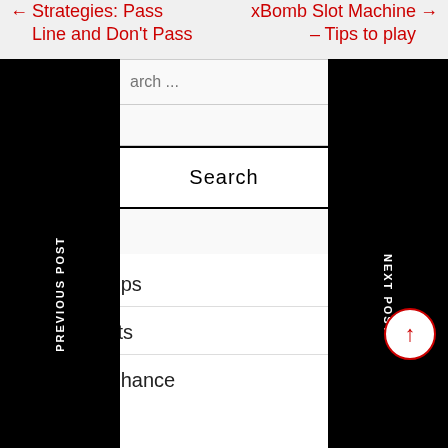← Strategies: Pass Line and Don't Pass
xBomb Slot Machine – Tips to play →
arch ...
Search
PREVIOUS POST
NEXT POST
Gambling Tips
Popular Slots
Games of Chance